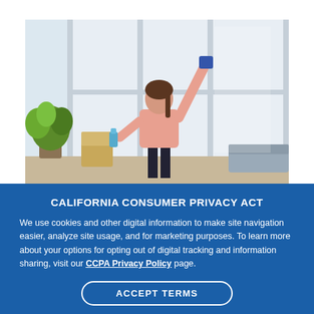[Figure (photo): A woman cleaning a large window, raising one arm with a cloth and holding a spray bottle in the other. A green plant is visible on the left, and a chair is in the background. Bright natural light comes through the windows.]
CALIFORNIA CONSUMER PRIVACY ACT
We use cookies and other digital information to make site navigation easier, analyze site usage, and for marketing purposes. To learn more about your options for opting out of digital tracking and information sharing, visit our CCPA Privacy Policy page.
ACCEPT TERMS